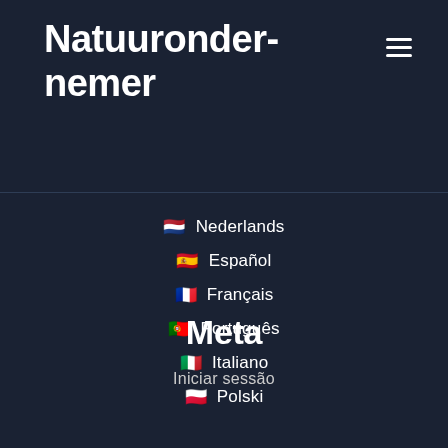Natuurondernemer
🇳🇱 Nederlands
🇪🇸 Español
🇫🇷 Français
🇵🇹 Português
🇮🇹 Italiano
🇵🇱 Polski
Meta
Iniciar sessão